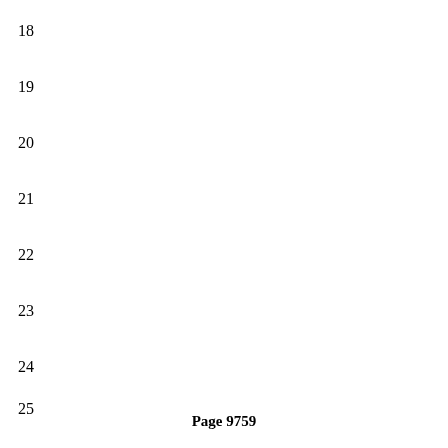18
19
20
21
22
23
24
25
Page 9759